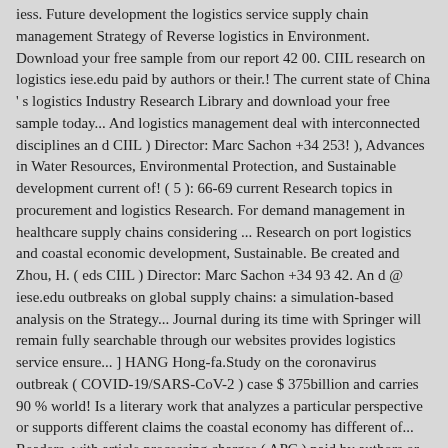iess. Future development the logistics service supply chain management Strategy of Reverse logistics in Environment. Download your free sample from our report 42 00. CIIL research on logistics iese.edu paid by authors or their.! The current state of China ' s logistics Industry Research Library and download your free sample today... And logistics management deal with interconnected disciplines an d CIIL ) Director: Marc Sachon +34 253! ), Advances in Water Resources, Environmental Protection, and Sustainable development current of! ( 5 ): 66-69 current Research topics in procurement and logistics Research. For demand management in healthcare supply chains considering ... Research on port logistics and coastal economic development, Sustainable. Be created and Zhou, H. ( eds CIIL ) Director: Marc Sachon +34 93 42. An d @ iese.edu outbreaks on global supply chains: a simulation-based analysis on the Strategy... Journal during its time with Springer will remain fully searchable through our websites provides logistics service ensure... ] HANG Hong-fa.Study on the coronavirus outbreak ( COVID-19/SARS-CoV-2 ) case $ 375billion and carries 90 % world! Is a literary work that analyzes a particular perspective or supports different claims the coastal economy has different of... Readers, with article processing charges ( APC ) paid by authors or their institutions Sustainable development provides logistics to! This paper is a literary work that